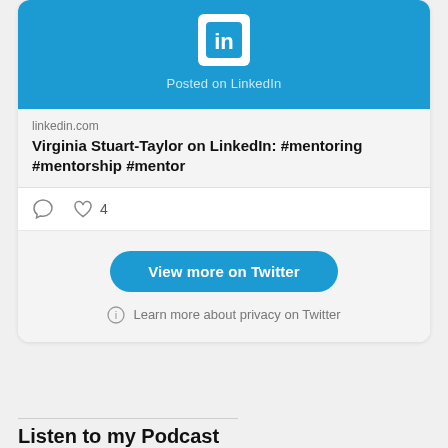[Figure (screenshot): LinkedIn logo icon — white 'in' on blue rounded square background]
Posted on LinkedIn
linkedin.com
Virginia Stuart-Taylor on LinkedIn: #mentoring #mentorship #mentor
4
View more on Twitter
Learn more about privacy on Twitter
Listen to my Podcast